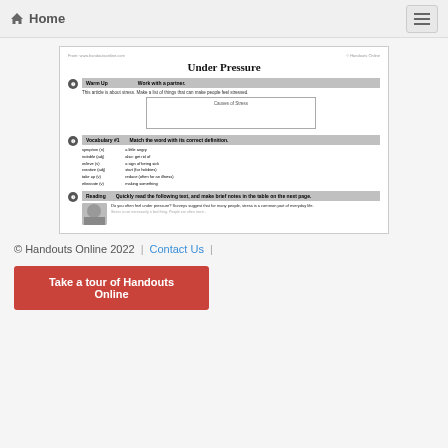Home
[Figure (screenshot): Preview of an educational worksheet titled 'Under Pressure' showing warm-up, vocabulary, and reading sections about stress]
© Handouts Online 2022  |  Contact Us  |
Take a tour of Handouts Online